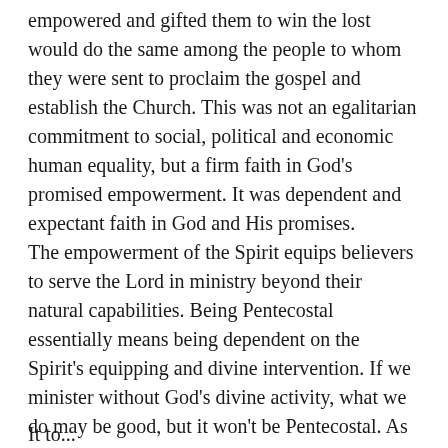empowered and gifted them to win the lost would do the same among the people to whom they were sent to proclaim the gospel and establish the Church. This was not an egalitarian commitment to social, political and economic human equality, but a firm faith in God's promised empowerment. It was dependent and expectant faith in God and His promises.
The empowerment of the Spirit equips believers to serve the Lord in ministry beyond their natural capabilities. Being Pentecostal essentially means being dependent on the Spirit's equipping and divine intervention. If we minister without God's divine activity, what we do may be good, but it won't be Pentecostal. As Pentecostals, we depend on, count on and expect God to act beyond our actions.
It was...